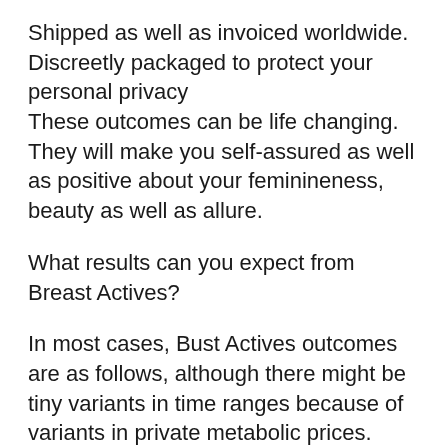Shipped as well as invoiced worldwide. Discreetly packaged to protect your personal privacy
These outcomes can be life changing. They will make you self-assured as well as positive about your feminineness, beauty as well as allure.
What results can you expect from Breast Actives?
In most cases, Bust Actives outcomes are as follows, although there might be tiny variants in time ranges because of variants in private metabolic prices.
An actual rise in mug sizes in the third month of use, after the end of 60 days.